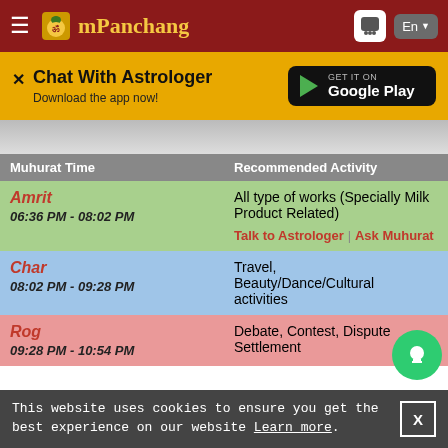mPanchang
Chat With Astrologer
Download the app now!
GET IT ON Google Play
| Muhurat Time | Recommended Activity |
| --- | --- |
| Amrit
06:36 PM - 08:02 PM | All type of works (Specially Milk Product Related)
Talk to Astrologer | Ask Muhurat |
| Char
08:02 PM - 09:28 PM | Travel, Beauty/Dance/Cultural activities |
| Rog
09:28 PM - 10:54 PM | Debate, Contest, Dispute Settlement |
This website uses cookies to ensure you get the best experience on our website Learn more.